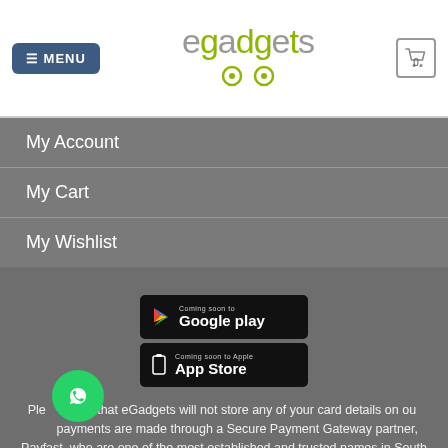MENU | egadgets | 0
My Account
My Cart
My Wishlist
[Figure (screenshot): Google Play and App Store coming soon badges]
Please note that eGadgets will not store any of your card details on our site, payments are made through a Secure Payment Gateway partner, Payfast, who are one of the most established and trusted names in South Africa for online payment systems.